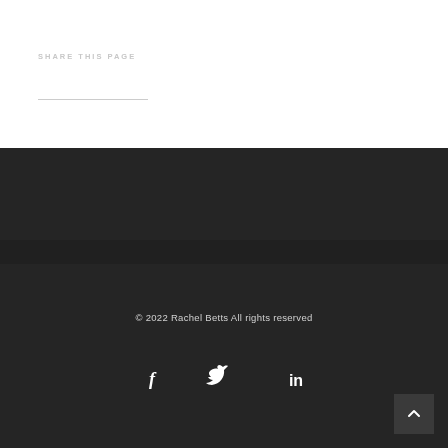SHARE THIS PAGE
© 2022 Rachel Betts All rights reserved
[Figure (illustration): Social media icons: Facebook (f), Twitter (bird), LinkedIn (in)]